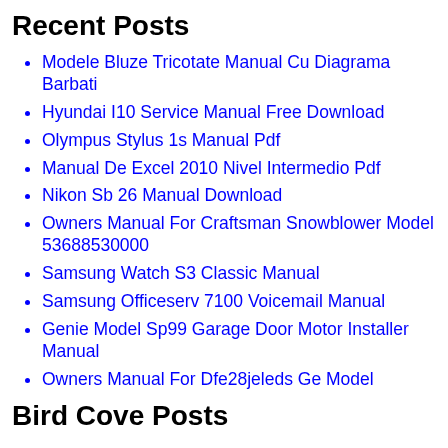Recent Posts
Modele Bluze Tricotate Manual Cu Diagrama Barbati
Hyundai I10 Service Manual Free Download
Olympus Stylus 1s Manual Pdf
Manual De Excel 2010 Nivel Intermedio Pdf
Nikon Sb 26 Manual Download
Owners Manual For Craftsman Snowblower Model 53688530000
Samsung Watch S3 Classic Manual
Samsung Officeserv 7100 Voicemail Manual
Genie Model Sp99 Garage Door Motor Installer Manual
Owners Manual For Dfe28jeleds Ge Model
Bird Cove Posts